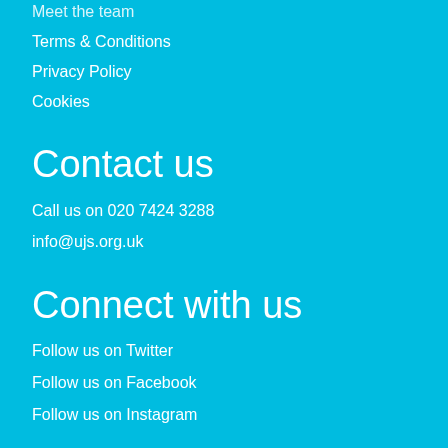Meet the team
Terms & Conditions
Privacy Policy
Cookies
Contact us
Call us on 020 7424 3288
info@ujs.org.uk
Connect with us
Follow us on Twitter
Follow us on Facebook
Follow us on Instagram
© UJS. All rights reserved.
This site is owned and operated by UJS.
Created with NationBuilder